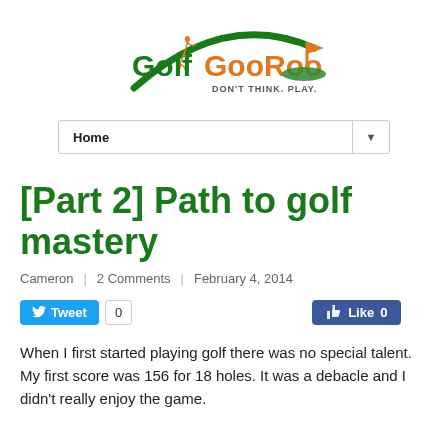[Figure (logo): GolfGooRoo logo with golfer silhouette, green and orange text reading 'GolfGooRoo', tagline 'DON'T THINK. PLAY.' and green arc and orange flag graphic]
Home
[Part 2] Path to golf mastery
Cameron | 2 Comments | February 4, 2014
Tweet 0  Like 0
When I first started playing golf there was no special talent. My first score was 156 for 18 holes. It was a debacle and I didn't really enjoy the game.